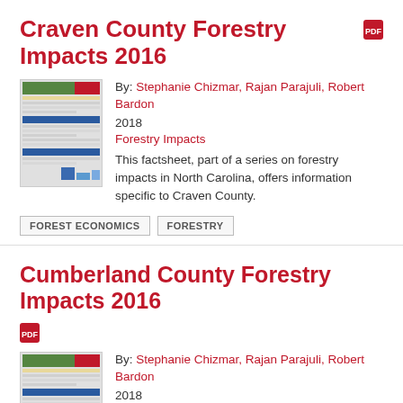Craven County Forestry Impacts 2016
By: Stephanie Chizmar, Rajan Parajuli, Robert Bardon
2018
Forestry Impacts
[Figure (other): Thumbnail image of the Craven County Forestry Impacts 2016 factsheet document]
This factsheet, part of a series on forestry impacts in North Carolina, offers information specific to Craven County.
FOREST ECONOMICS
FORESTRY
Cumberland County Forestry Impacts 2016
By: Stephanie Chizmar, Rajan Parajuli, Robert Bardon
2018
Forestry Impacts
[Figure (other): Thumbnail image of the Cumberland County Forestry Impacts 2016 factsheet document]
This factsheet, part of a series on forestry impacts in North Carolina, offers information specific to